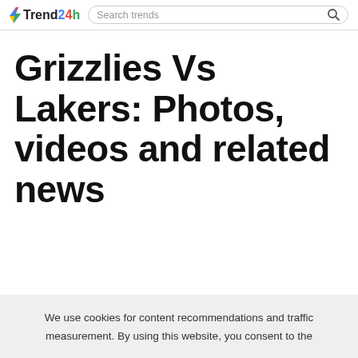Trend24h | Search trends
Grizzlies Vs Lakers: Photos, videos and related news
We use cookies for content recommendations and traffic measurement. By using this website, you consent to the